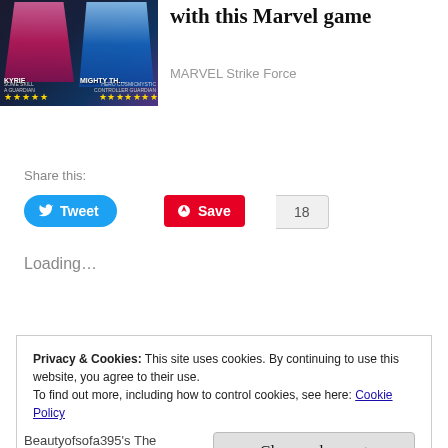[Figure (screenshot): Marvel Strike Force game promotional image showing characters KYRIE and MIGHTY TH(OR) with star ratings]
with this Marvel game
MARVEL Strike Force
Share this:
Tweet
Save
18
Loading...
Privacy & Cookies: This site uses cookies. By continuing to use this website, you agree to their use.
To find out more, including how to control cookies, see here: Cookie Policy
Close and accept
Beautyofsofa395's The